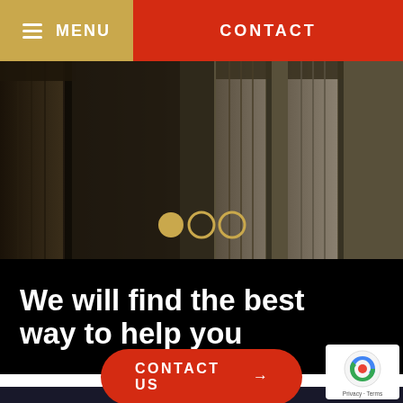≡ MENU   CONTACT
[Figure (photo): Dark photo of classical stone columns/pillars with carousel dot indicators (one filled gold, two empty gold) overlaid]
We will find the best way to help you
CONTACT US →